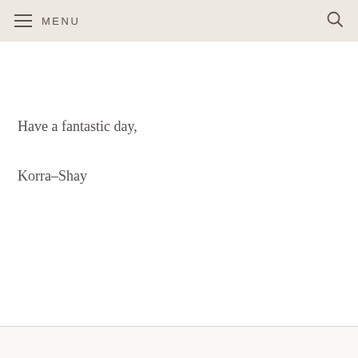MENU
Have a fantastic day,
Korra–Shay